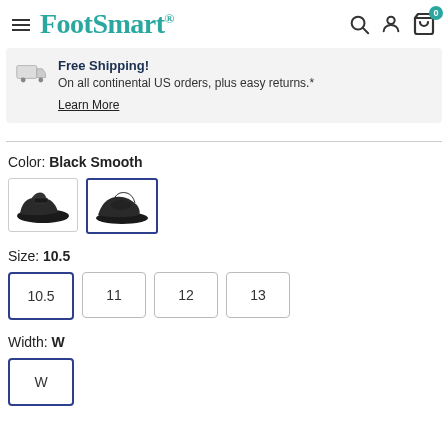FootSmart
Free Shipping! On all continental US orders, plus easy returns.* Learn More
Color: Black Smooth
[Figure (photo): Two shoe color options for Black Smooth; second option selected with blue border]
Size: 10.5
Size options: 10.5 (selected), 11, 12, 13
Width: W
Width option: W (selected, partially visible)